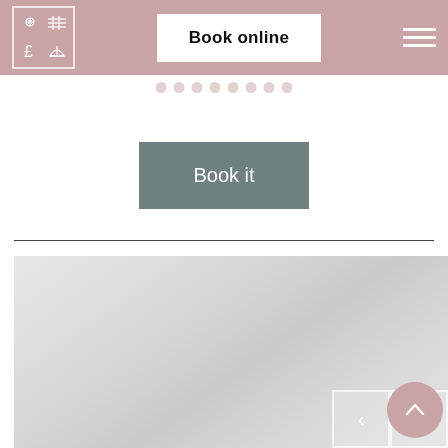[Figure (screenshot): Navigation bar with a house logo (2x2 grid icon with flower, grid, currency sign, sailboat symbols), a 'Book online' white button in the center, and a hamburger menu icon on the right, all on a mauve/pink background.]
[Figure (other): Pagination dots row showing approximately 8 small circular dots in mauve color.]
Book it
[Figure (photo): Large light gray image area (photo placeholder) with navigation arrows (left and right) at the bottom right and a scroll-to-top circular button in mauve/pink.]